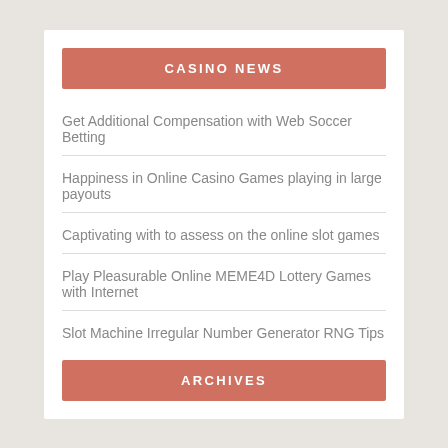CASINO NEWS
Get Additional Compensation with Web Soccer Betting
Happiness in Online Casino Games playing in large payouts
Captivating with to assess on the online slot games
Play Pleasurable Online MEME4D Lottery Games with Internet
Slot Machine Irregular Number Generator RNG Tips to be aware
ARCHIVES